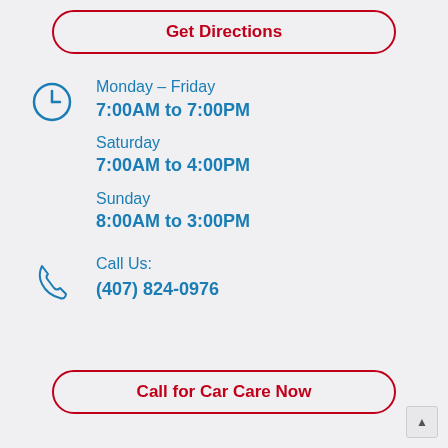Get Directions
Monday – Friday
7:00AM to 7:00PM
Saturday
7:00AM to 4:00PM
Sunday
8:00AM to 3:00PM
Call Us:
(407) 824-0976
Call for Car Care Now